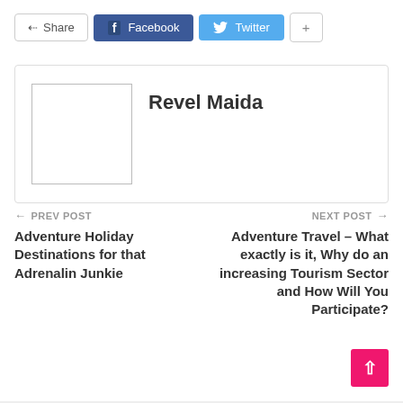[Figure (other): Social share bar with Share, Facebook, Twitter, and + buttons]
[Figure (other): Author box with avatar placeholder and name Revel Maida]
Revel Maida
← PREV POST
Adventure Holiday Destinations for that Adrenalin Junkie
NEXT POST →
Adventure Travel – What exactly is it, Why do an increasing Tourism Sector and How Will You Participate?